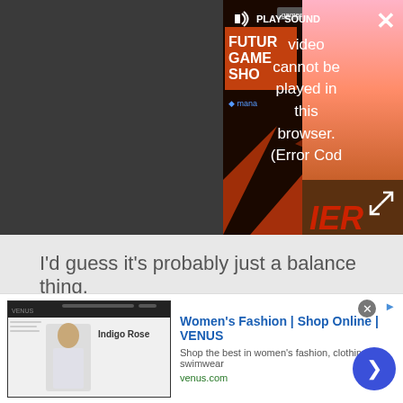[Figure (screenshot): Video player overlay showing error message 'Video cannot be played in this browser. (Error Cod' with PLAY SOUND button, Gamescon Future Games Show thumbnail on left, colorful game artwork on right, close X button top right, expand button bottom right]
I'd guess it's probably just a balance thing.
Advertisement
[Figure (screenshot): Advertisement banner for Women's Fashion | Shop Online | VENUS. Shows website thumbnail on left, title in blue, description 'Shop the best in women's fashion, clothing, swimwear', url 'venus.com' in green, blue circular arrow button on right]